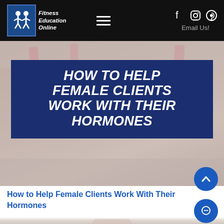Fitness Education Online
[Figure (photo): Hero image with women exercising in background, overlaid with dark blue banner reading HOW TO HELP FEMALE CLIENTS WORK WITH THEIR HORMONES]
HOW TO HELP FEMALE CLIENTS WORK WITH THEIR HORMONES
How to Help Female Clients Work With Their Hormones